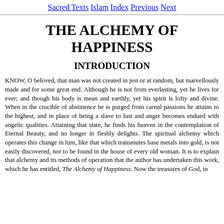Sacred Texts  Islam  Index  Previous  Next
THE ALCHEMY OF HAPPINESS
INTRODUCTION
KNOW, O beloved, that man was not created in jest or at random, but marvellously made and for some great end. Although he is not from everlasting, yet he lives for ever; and though his body is mean and earthly, yet his spirit is lofty and divine. When in the crucible of abstinence he is purged from carnal passions he attains to the highest, and in place of being a slave to lust and anger becomes endued with angelic qualities. Attaining that state, he finds his heaven in the contemplation of Eternal Beauty, and no longer in fleshly delights. The spiritual alchemy which operates this change in him, like that which transmutes base metals into gold, is not easily discovered, nor to be found in the house of every old woman. It is to explain that alchemy and its methods of operation that the author has undertaken this work, which he has entitled, The Alchemy of Happiness. Now the treasures of God, in